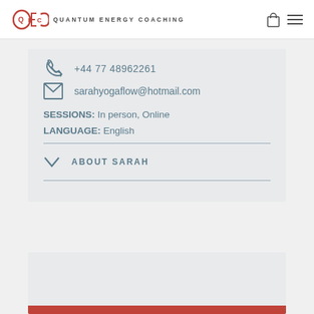QEC QUANTUM ENERGY COACHING
+44 77 48962261
sarahyogaflow@hotmail.com
SESSIONS: In person, Online
LANGUAGE: English
ABOUT SARAH